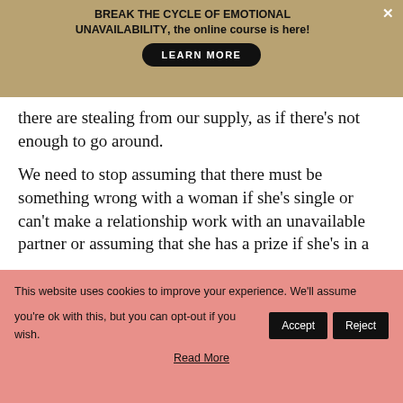BREAK THE CYCLE OF EMOTIONAL UNAVAILABILITY, the online course is here!
there are stealing from our supply, as if there's not enough to go around.
We need to stop assuming that there must be something wrong with a woman if she's single or can't make a relationship work with an unavailable partner or assuming that she has a prize if she's in a
This website uses cookies to improve your experience. We'll assume you're ok with this, but you can opt-out if you wish.
Read More